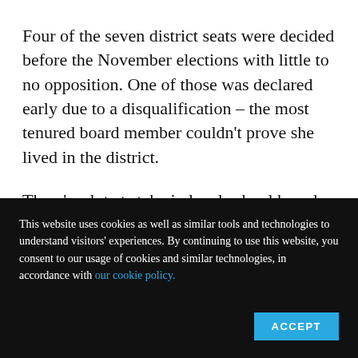Four of the seven district seats were decided before the November elections with little to no opposition. One of those was declared early due to a disqualification – the most tenured board member couldn't prove she lived in the district.
There's a lot at stake in local school board elections. In recent years, state and local districts across the country have played a real
This website uses cookies as well as similar tools and technologies to understand visitors' experiences. By continuing to use this website, you consent to our usage of cookies and similar technologies, in accordance with our cookie policy.